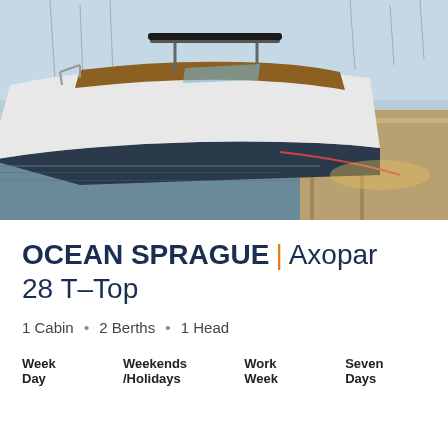[Figure (photo): A white motorboat (Axopar 28 T-Top) docked at a marina, seen from the side. The boat has a navy/dark hull bottom and white upper hull with wood accents and a T-top. Moored at a wooden dock with other sailboats visible in the background. Golden hour lighting.]
OCEAN SPRAGUE | Axopar 28 T-Top
1 Cabin • 2 Berths • 1 Head
| Week Day | Weekends /Holidays | Work Week | Seven Days |
| --- | --- | --- | --- |